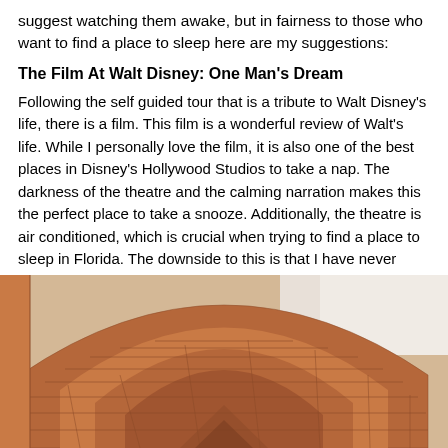suggest watching them awake, but in fairness to those who want to find a place to sleep here are my suggestions:
The Film At Walt Disney: One Man's Dream
Following the self guided tour that is a tribute to Walt Disney's life, there is a film. This film is a wonderful review of Walt's life. While I personally love the film, it is also one of the best places in Disney's Hollywood Studios to take a nap. The darkness of the theatre and the calming narration makes this the perfect place to take a snooze. Additionally, the theatre is air conditioned, which is crucial when trying to find a place to sleep in Florida. The downside to this is that I have never found the theatre chairs in Walt Disney: One Man's Dream to be very comfortable.
[Figure (photo): Close-up photograph of a terracotta/red-brown brick arch structure, likely a Disney Hollywood Studios building exterior, showing curved archway detail against a bright sky.]